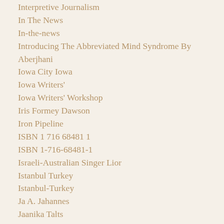Interpretive Journalism
In The News
In-the-news
Introducing The Abbreviated Mind Syndrome By Aberjhani
Iowa City Iowa
Iowa Writers'
Iowa Writers' Workshop
Iris Formey Dawson
Iron Pipeline
ISBN 1 716 68481 1
ISBN 1-716-68481-1
Israeli-Australian Singer Lior
Istanbul Turkey
Istanbul-Turkey
Ja A. Jahannes
Jaanika Talts
Jack Leigh
Jahannes
Jalal Al Din Rumi
Jalal Al-Din Rumi
Jalal Pleasant
JAM2017